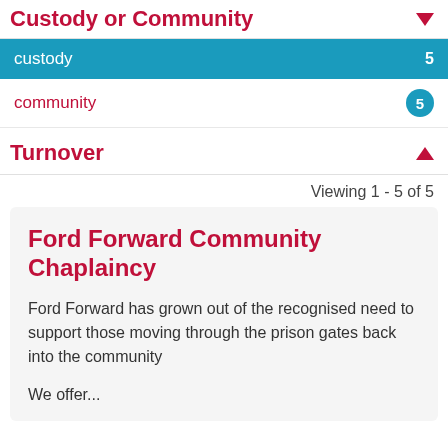Custody or Community
custody 5
community 5
Turnover
Viewing 1 - 5 of 5
Ford Forward Community Chaplaincy
Ford Forward has grown out of the recognised need to support those moving through the prison gates back into the community
We offer...